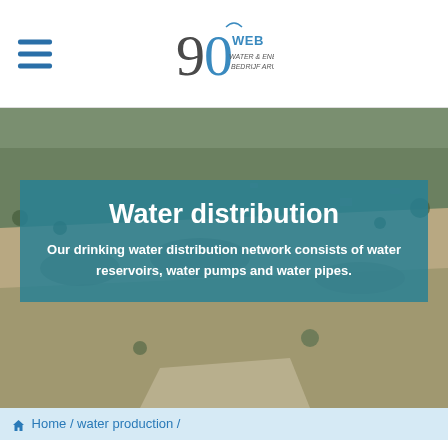WEB Aruba logo and navigation menu
[Figure (photo): Aerial photograph of arid rocky hillside terrain with sparse vegetation and some debris visible]
Water distribution
Our drinking water distribution network consists of water reservoirs, water pumps and water pipes.
Home / water production /
The drinking water produced at WEB Aruba is pumped to 7 water storage tanks on its own